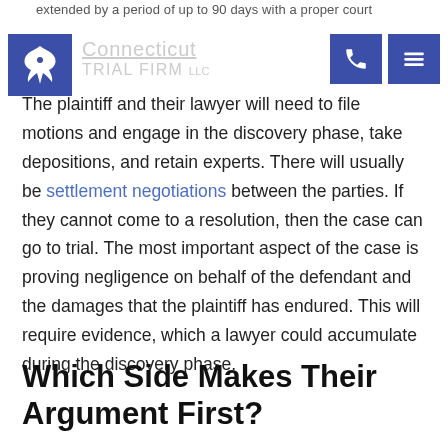extended by a period of up to 90 days with a proper court
[Figure (logo): Connecticut Trial Firm LLC logo with blue background and white oak leaf, plus navigation icons]
The plaintiff and their lawyer will need to file motions and engage in the discovery phase, take depositions, and retain experts. There will usually be settlement negotiations between the parties. If they cannot come to a resolution, then the case can go to trial. The most important aspect of the case is proving negligence on behalf of the defendant and the damages that the plaintiff has endured. This will require evidence, which a lawyer could accumulate during the discovery phase.
Which Side Makes Their Argument First?